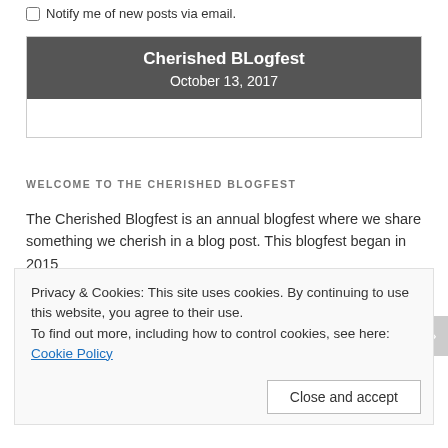Notify me of new posts via email.
Cherished BLogfest
October 13, 2017
WELCOME TO THE CHERISHED BLOGFEST
The Cherished Blogfest is an annual blogfest where we share something we cherish in a blog post. This blogfest began in 2015
Privacy & Cookies: This site uses cookies. By continuing to use this website, you agree to their use.
To find out more, including how to control cookies, see here: Cookie Policy
Close and accept